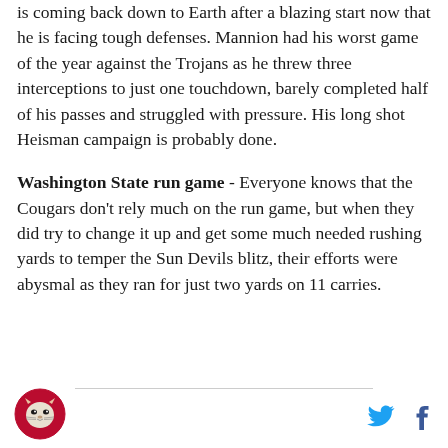is coming back down to Earth after a blazing start now that he is facing tough defenses. Mannion had his worst game of the year against the Trojans as he threw three interceptions to just one touchdown, barely completed half of his passes and struggled with pressure. His long shot Heisman campaign is probably done.
Washington State run game - Everyone knows that the Cougars don't rely much on the run game, but when they did try to change it up and get some much needed rushing yards to temper the Sun Devils blitz, their efforts were abysmal as they ran for just two yards on 11 carries.
[Figure (logo): Washington State Cougars circular logo with stylized cougar head]